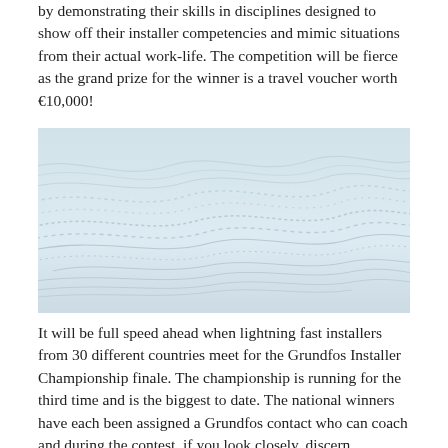by demonstrating their skills in disciplines designed to show off their installer competencies and mimic situations from their actual work-life. The competition will be fierce as the grand prize for the winner is a travel voucher worth €10,000!
[Figure (photo): Close-up abstract photo of light blue/white wavy textured surface with dotted and curved line patterns, resembling a topographic or water surface.]
It will be full speed ahead when lightning fast installers from 30 different countries meet for the Grundfos Installer Championship finale. The championship is running for the third time and is the biggest to date. The national winners have each been assigned a Grundfos contact who can coach and during the contest, if you look closely, discern...